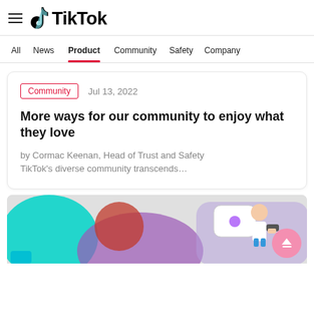TikTok
All  News  Product  Community  Safety  Company
Community   Jul 13, 2022
More ways for our community to enjoy what they love
by Cormac Keenan, Head of Trust and Safety
TikTok's diverse community transcends…
[Figure (illustration): Colorful illustration showing people using smartphones and social media, with a heart/chat bubble icon, teal and purple background shapes.]